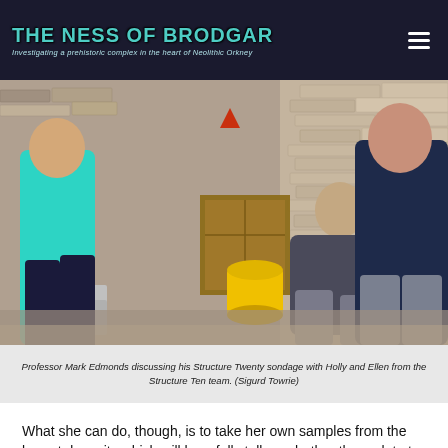THE NESS OF BRODGAR — Investigating a prehistoric complex in the heart of Neolithic Orkney
[Figure (photo): Three people at an archaeological dig site surrounded by stacked stone walls. One person seated in the middle (Professor Mark Edmonds) discussing with two others (Holly and Ellen from the Structure Ten team). A yellow bucket and grey storage boxes are visible.]
Professor Mark Edmonds discussing his Structure Twenty sondage with Holly and Ellen from the Structure Ten team. (Sigurd Towrie)
What she can do, though, is to take her own samples from the lowest deposits which will hopefully tell us whether they relate to the floors of Structure Twenty, underneath Structure Ten, or whether they may reveal another building of some sort under Structure Twenty.